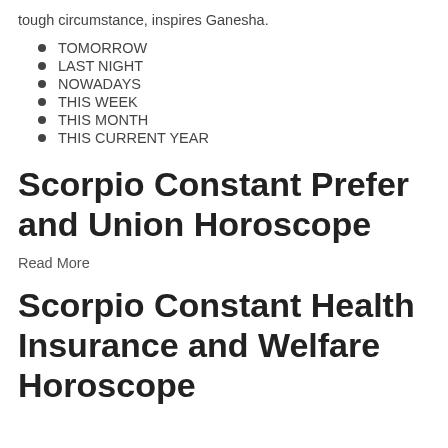tough circumstance, inspires Ganesha.
TOMORROW
LAST NIGHT
NOWADAYS
THIS WEEK
THIS MONTH
THIS CURRENT YEAR
Scorpio Constant Prefer and Union Horoscope
Read More
Scorpio Constant Health Insurance and Welfare Horoscope